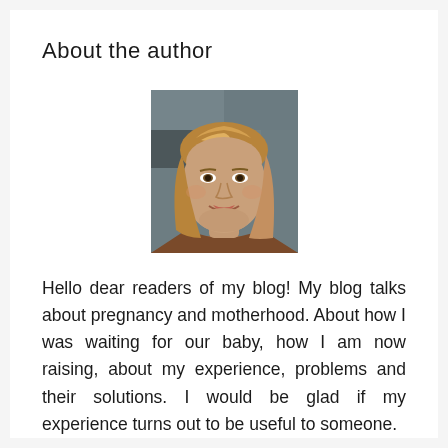About the author
[Figure (photo): Portrait photo of a young woman with shoulder-length blonde-brown hair, smiling, photographed outdoors against a stone background]
Hello dear readers of my blog! My blog talks about pregnancy and motherhood. About how I was waiting for our baby, how I am now raising, about my experience, problems and their solutions. I would be glad if my experience turns out to be useful to someone.